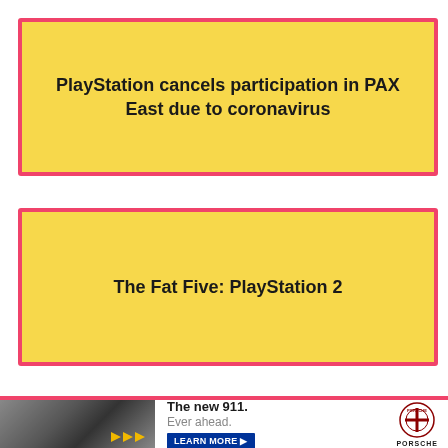PlayStation cancels participation in PAX East due to coronavirus
The Fat Five: PlayStation 2
[Figure (infographic): Porsche advertisement banner showing a car on a road with chevron markings, text reading 'The new 911. Ever ahead.' with a LEARN MORE button and Porsche logo.]